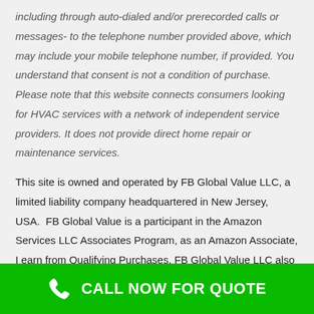including through auto-dialed and/or prerecorded calls or messages- to the telephone number provided above, which may include your mobile telephone number, if provided. You understand that consent is not a condition of purchase. Please note that this website connects consumers looking for HVAC services with a network of independent service providers. It does not provide direct home repair or maintenance services.
This site is owned and operated by FB Global Value LLC, a limited liability company headquartered in New Jersey, USA.  FB Global Value is a participant in the Amazon Services LLC Associates Program, as an Amazon Associate, I earn from Qualifying Purchases. FB Global Value LLC also participates in affiliate programs with
CALL NOW FOR QUOTE